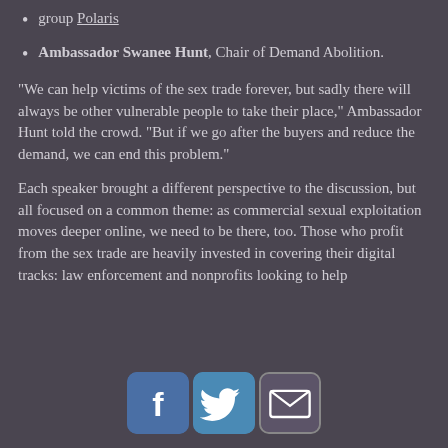group Polaris
Ambassador Swanee Hunt, Chair of Demand Abolition.
“We can help victims of the sex trade forever, but sadly there will always be other vulnerable people to take their place,” Ambassador Hunt told the crowd. “But if we go after the buyers and reduce the demand, we can end this problem.”
Each speaker brought a different perspective to the discussion, but all focused on a common theme: as commercial sexual exploitation moves deeper online, we need to be there, too. Those who profit from the sex trade are heavily invested in covering their digital tracks: law enforcement and nonprofits looking to help
[Figure (infographic): Three social media share icons: Facebook (blue rounded square), Twitter (darker blue rounded square), Email (dark rounded square with envelope icon)]